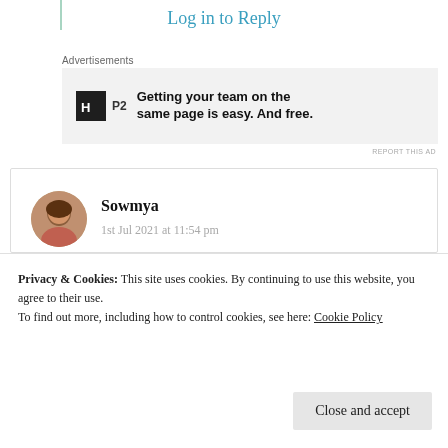Log in to Reply
Advertisements
[Figure (infographic): Advertisement banner for P2 product: icon with letter H in a black square, label P2, text 'Getting your team on the same page is easy. And free.']
REPORT THIS AD
Sowmya
1st Jul 2021 at 11:54 pm
Wonderful poetry with rhyming words. Refreshing
Privacy & Cookies: This site uses cookies. By continuing to use this website, you agree to their use.
To find out more, including how to control cookies, see here: Cookie Policy
Close and accept